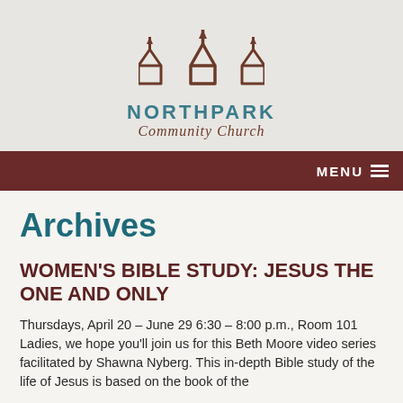[Figure (logo): Northpark Community Church logo: three house outlines with upward arrows, in dark brown/maroon outline style, above the church name in teal and brown italic script]
MENU
Archives
WOMEN'S BIBLE STUDY: JESUS THE ONE AND ONLY
Thursdays, April 20 – June 29 6:30 – 8:00 p.m., Room 101 Ladies, we hope you'll join us for this Beth Moore video series facilitated by Shawna Nyberg. This in-depth Bible study of the life of Jesus is based on the book of the same name.